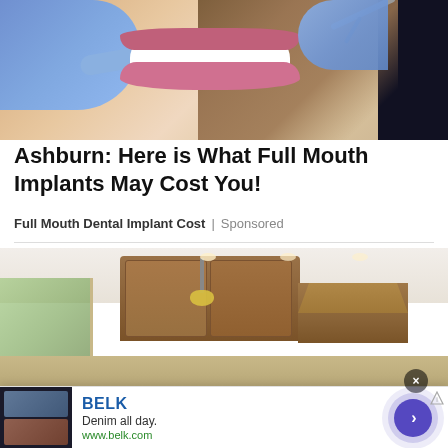[Figure (photo): Close-up photo of a woman smiling with white teeth, dental tools held by blue-gloved hands examining her mouth]
Ashburn: Here is What Full Mouth Implants May Cost You!
Full Mouth Dental Implant Cost | Sponsored
[Figure (photo): Interior photo of a modern kitchen with wood cabinets, recessed lighting, hanging pendant light, and a range hood]
[Figure (photo): BELK advertisement banner: Denim all day. www.belk.com with arrow button]